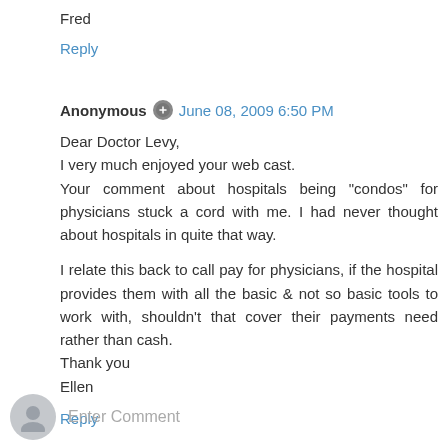Fred
Reply
Anonymous · June 08, 2009 6:50 PM
Dear Doctor Levy,
I very much enjoyed your web cast.
Your comment about hospitals being "condos" for physicians stuck a cord with me. I had never thought about hospitals in quite that way.

I relate this back to call pay for physicians, if the hospital provides them with all the basic & not so basic tools to work with, shouldn't that cover their payments need rather than cash.
Thank you
Ellen
Reply
Enter Comment